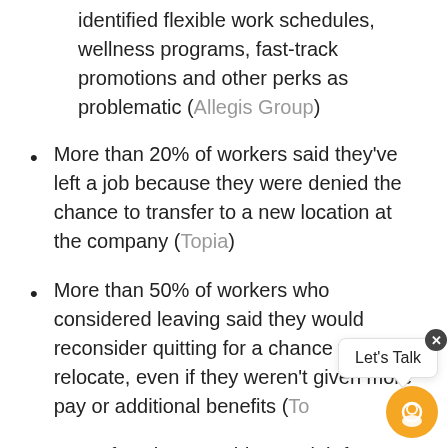identified flexible work schedules, wellness programs, fast-track promotions and other perks as problematic (Allegis Group)
More than 20% of workers said they've left a job because they were denied the chance to transfer to a new location at the company (Topia)
More than 50% of workers who considered leaving said they would reconsider quitting for a chance to relocate, even if they weren't given more pay or additional benefits (Topia)
44% of workers would [leave their] job for one with better pay